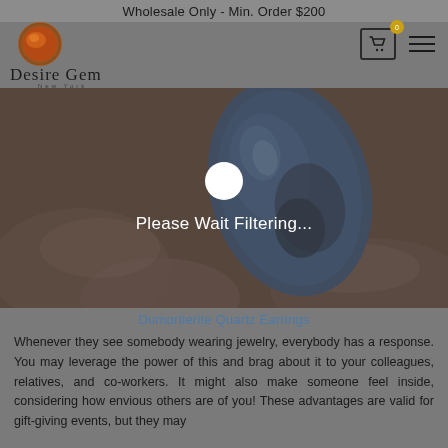Wholesale Only - Min. Order $200
[Figure (logo): Desire Gem New York logo with circular gemstone illustration above stylized text]
[Figure (photo): Close-up photo of a blue Dumortierite Quartz gemstone being held by fingers, with a loading overlay showing 'Please Wait Filtering...' and a white circle spinner]
Dumortierite Quartz Earrings
Whenever they see somebody wearing jewelry, everybody has a response. You may leverage the power of this and brag about it to your colleagues, relatives, and co-workers. It might also make someone feel inside, considering how envious others are of you! These advantages are valid for gift-giving events, but they may